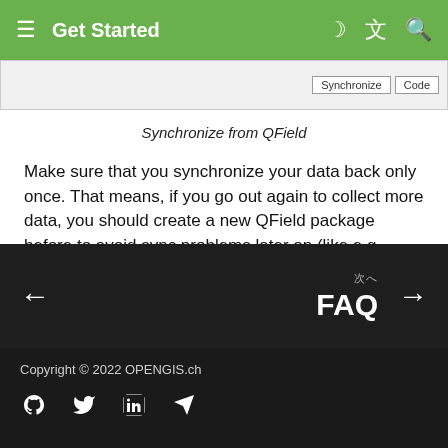Get Started
[Figure (screenshot): Partial screenshot showing Synchronize and Code buttons]
Synchronize from QField
Make sure that you synchronize your data back only once. That means, if you go out again to collect more data, you should create a new QField package before to avoid sync problems later on (like e.g. duplicates).
← FAQ →
Copyright © 2022 OPENGIS.ch